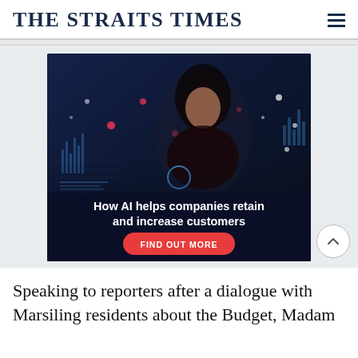THE STRAITS TIMES
[Figure (photo): Advertisement banner featuring a woman looking at holographic data displays with text 'How AI helps companies retain and increase customers' and a 'FIND OUT MORE' button]
Speaking to reporters after a dialogue with Marsiling residents about the Budget, Madam